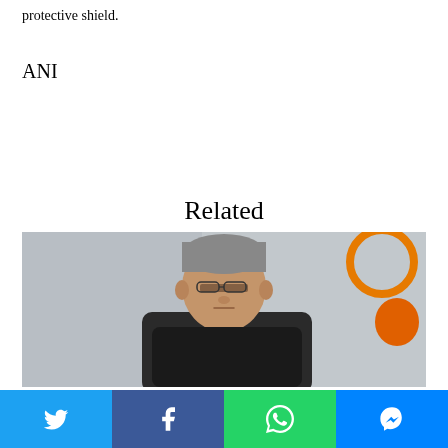protective shield.
ANI
Related
[Figure (photo): A middle-aged man with grey hair and glasses, wearing a dark suit, seated in front of a blurred office background with an orange circular decorative element.]
Twitter | Facebook | WhatsApp | Messenger social share buttons